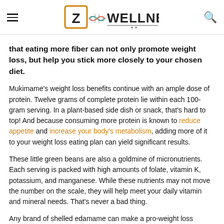Z Wellness (logo header with hamburger menu and search icon)
that eating more fiber can not only promote weight loss, but help you stick more closely to your chosen diet.
Mukimame's weight loss benefits continue with an ample dose of protein. Twelve grams of complete protein lie within each 100-gram serving. In a plant-based side dish or snack, that's hard to top! And because consuming more protein is known to reduce appetite and increase your body's metabolism, adding more of it to your weight loss eating plan can yield significant results.
These little green beans are also a goldmine of micronutrients. Each serving is packed with high amounts of folate, vitamin K, potassium, and manganese. While these nutrients may not move the number on the scale, they will help meet your daily vitamin and mineral needs. That's never a bad thing.
Any brand of shelled edamame can make a pro-weight loss